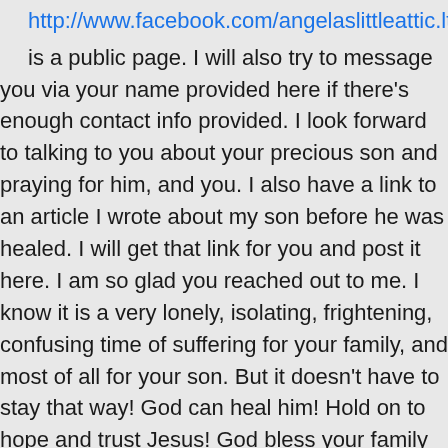http://www.facebook.com/angelaslittleattic.lt is a public page. I will also try to message you via your name provided here if there's enough contact info provided. I look forward to talking to you about your precious son and praying for him, and you. I also have a link to an article I wrote about my son before he was healed. I will get that link for you and post it here. I am so glad you reached out to me. I know it is a very lonely, isolating, frightening, confusing time of suffering for your family, and most of all for your son. But it doesn't have to stay that way! God can heal him! Hold on to hope and trust Jesus! God bless your family and son, and may he be healed in God's perfect